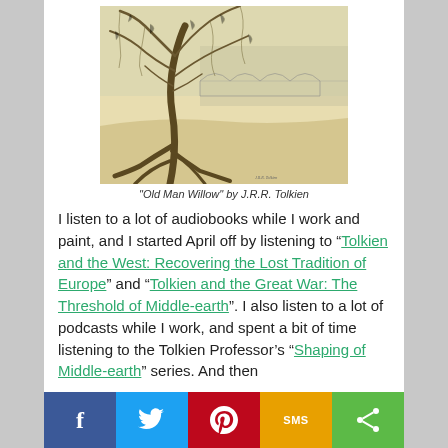[Figure (illustration): Pencil/pen sketch of 'Old Man Willow' — a large gnarled willow tree with twisting roots in the foreground and an arched bridge or aqueduct visible in the background, drawn by J.R.R. Tolkien]
"Old Man Willow" by J.R.R. Tolkien
I listen to a lot of audiobooks while I work and paint, and I started April off by listening to “Tolkien and the West: Recovering the Lost Tradition of Europe” and “Tolkien and the Great War: The Threshold of Middle-earth”. I also listen to a lot of podcasts while I work, and spent a bit of time listening to the Tolkien Professor’s “Shaping of Middle-earth” series. And then finally, there was the more serious matter of